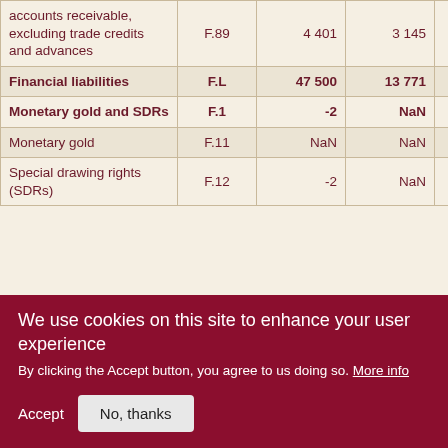|  | Code | Col1 | Col2 | Col3 |
| --- | --- | --- | --- | --- |
| accounts receivable, excluding trade credits and advances | F.89 | 4 401 | 3 145 | 36… |
| Financial liabilities | F.L | 47 500 | 13 771 | 25 30… |
| Monetary gold and SDRs | F.1 | -2 | NaN | -… |
| Monetary gold | F.11 | NaN | NaN | Na… |
| Special drawing rights (SDRs) | F.12 | -2 | NaN | -… |
We use cookies on this site to enhance your user experience
By clicking the Accept button, you agree to us doing so. More info